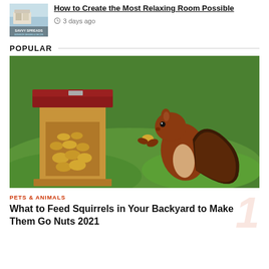[Figure (photo): Thumbnail image of a bedroom with blue tones and overlay text 'Savvy Spreads']
How to Create the Most Relaxing Room Possible
3 days ago
POPULAR
[Figure (photo): A red squirrel eating a peanut next to a wooden squirrel feeder box filled with peanuts, on green grass]
PETS & ANIMALS
What to Feed Squirrels in Your Backyard to Make Them Go Nuts 2021